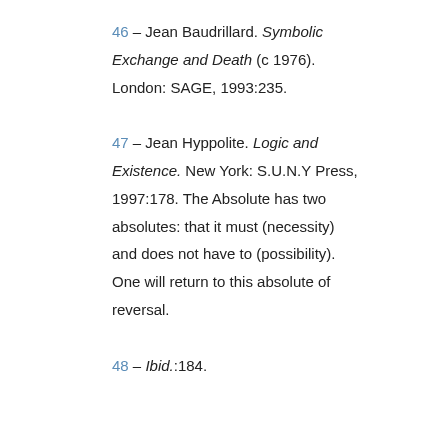46 – Jean Baudrillard. Symbolic Exchange and Death (c 1976). London: SAGE, 1993:235.
47 – Jean Hyppolite. Logic and Existence. New York: S.U.N.Y Press, 1997:178. The Absolute has two absolutes: that it must (necessity) and does not have to (possibility). One will return to this absolute of reversal.
48 – Ibid.:184.